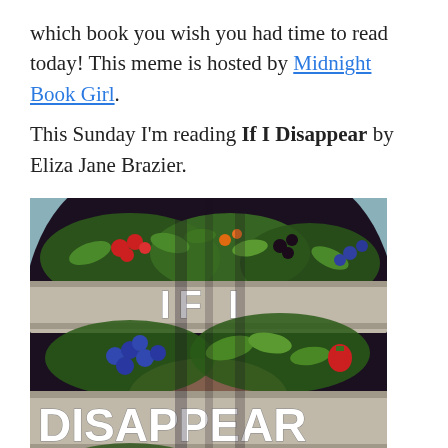which book you wish you had time to read today! This meme is hosted by Midnight Book Girl.
This Sunday I'm reading If I Disappear by Eliza Jane Brazier.
[Figure (illustration): Book cover of 'If I Disappear' by Eliza Jane Brazier. A woman with long dark hair has her face obscured by botanical illustrations of berries and leaves. Two ribbon-like banners cross her face. The top banner reads 'IF I' in 3D block letters, and the bottom larger banner reads 'DISAPPEAR' in large white block letters. The background behind the hair is a muted blue-grey.]